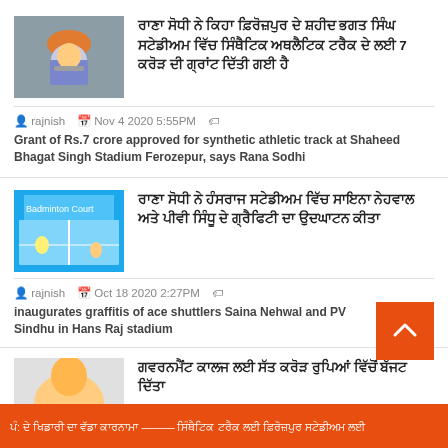[Figure (photo): Man in turban and mask speaking]
ਰਾਣਾ ਸੋਧੀ ਨੇ ਕਿਹਾ ਫ਼ਿਰੋਜ਼ਪੁਰ ਦੇ ਸ਼ਹੀਦ ਭਗਤ ਸਿੰਘ ਸਟੇਡੀਅਮ ਵਿੱਚ ਸਿੰਥੈਟਿਕ ਅਥਲੈਟਿਕ ਟਰੈਕ ਦੇ ਲਈ 7 ਕਰੋੜ ਦੀ ਗ੍ਰਾਂਟ ਦਿੱਤੀ ਗਈ ਹੈ
rajnish   Nov 4 2020 5:55PM   Grant of Rs.7 crore approved for synthetic athletic track at Shaheed Bhagat Singh Stadium Ferozepur, says Rana Sodhi
[Figure (photo): Badminton court with players]
ਰਾਣਾ ਸੋਧੀ ਨੇ ਹੰਸਰਾਜ ਸਟੇਡੀਅਮ ਵਿੱਚ ਸਾਇਨਾ ਨੇਹਵਾਲ ਅਤੇ ਪੀਵੀ ਸਿੰਧੂ ਦੇ ਗ੍ਰੈਫਿਟੀ ਦਾ ਉਦਘਾਟਨ ਕੀਤਾ
rajnish   Oct 18 2020 2:27PM   inaugurates graffitis of ace shuttlers Saina Nehwal and PV Sindhu in Hans Raj stadium
[Figure (photo): Partial image of person]
ਗਵਰਨਮੈਂਟ ਕਾਲਜ ਲਈ ਸੱਤ ਕਰੋੜ ਰੁਪਿਆਂ ਵਿੱਚੋਂ ਬੱਜਟ ਦਿੱਤਾ
ਪੰ: ਦੇ ਖਿਡਾਰੀ ਦਾ ਵੱਡਾ ਕਾਰਨਾਮਾ ——— ਸਿੰਥੈਟਿਕ ਟਰੈਕ ਲਈ ਫ਼ਿਰੋਜ਼ਪੁਰ ਸਟੇਡੀਅਮ ਲਈ